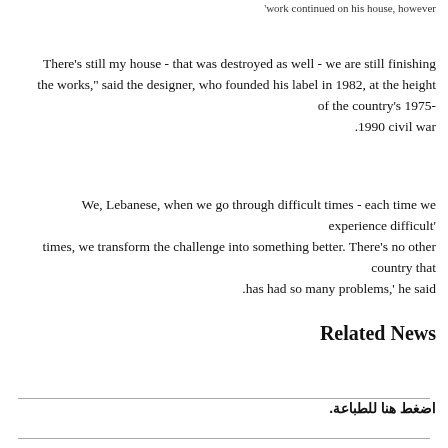'work continued on his house, however
There's still my house - that was destroyed as well - we are still finishing the works,'' said the designer, who founded his label in 1982, at the height of the country's 1975-1990 civil war.
We, Lebanese, when we go through difficult times - each time we experience difficult' times, we transform the challenge into something better. There's no other country that has had so many problems,' he said.
Related News
اضغط هنا للطباعة.